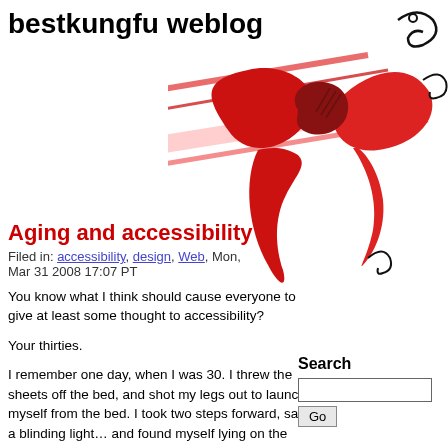bestkungfu weblog
[Figure (illustration): Red ribbon/belt martial arts graphic with black swirling lines on white background, positioned top-right]
Aging and accessibility
Filed in: accessibility, design, Web, Mon, Mar 31 2008 17:07 PT
You know what I think should cause everyone to give at least some thought to accessibility?
Your thirties.
I remember one day, when I was 30. I threw the sheets off the bed, and shot my legs out to launch myself from the bed. I took two steps forward, saw a blinding light… and found myself lying on the floor, unable to move for several minutes. It was my first back spasm, and knocked me out of commission for a couple weeks.
Suddenly, things I took for granted, like
Search